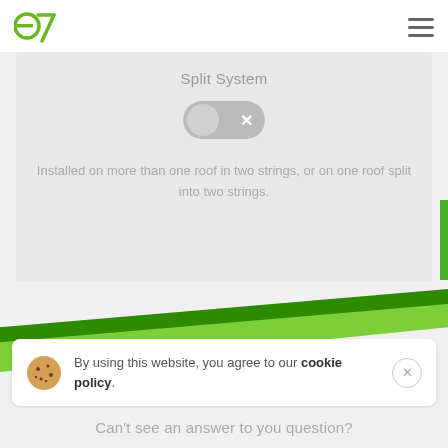e7 logo and navigation menu
Split System
[Figure (other): Toggle switch in off/disabled state with X mark]
Installed on more than one roof in two strings, or on one roof split into two strings.
[Figure (illustration): Two diagonal green stripes (dark green and light green) crossing the page]
By using this website, you agree to our cookie policy.
Can't see an answer to you question?